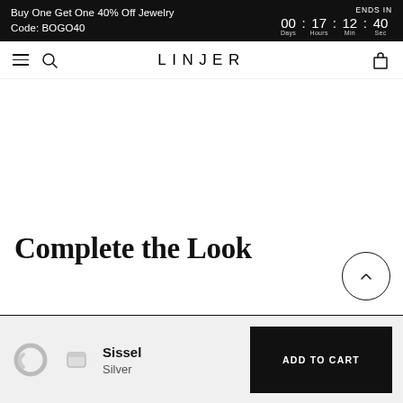Buy One Get One 40% Off Jewelry
Code: BOGO40
ENDS IN 00 : 17 : 12 : 40 Days Hours Min Sec
LINJER
Complete the Look
[Figure (illustration): Circular arrow button pointing upward]
[Figure (photo): Two silver rings - a hoop earring and a band ring]
Sissel
Silver
ADD TO CART